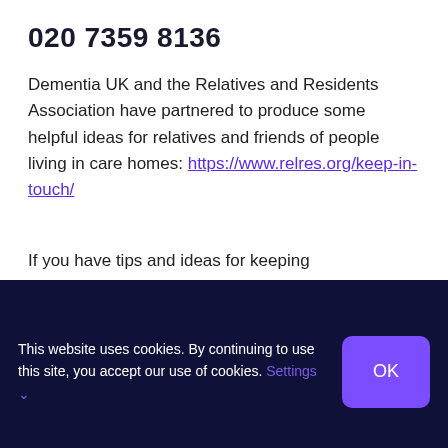020 7359 8136
Dementia UK and the Relatives and Residents Association have partnered to produce some helpful ideas for relatives and friends of people living in care homes: https://www.relres.org/keep-in-touch/
If you have tips and ideas for keeping
This website uses cookies. By continuing to use this site, you accept our use of cookies. Settings ∨ OK